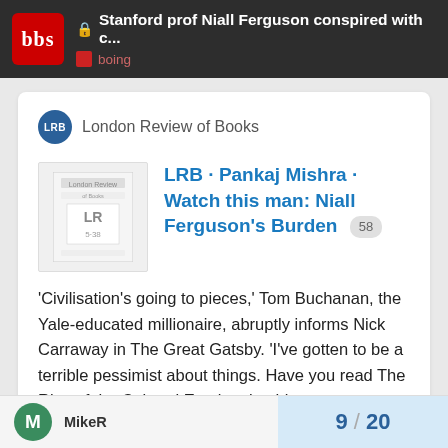Stanford prof Niall Ferguson conspired with c... | boing
London Review of Books
LRB · Pankaj Mishra · Watch this man: Niall Ferguson's Burden 58
'Civilisation's going to pieces,' Tom Buchanan, the Yale-educated millionaire, abruptly informs Nick Carraway in The Great Gatsby. 'I've gotten to be a terrible pessimist about things. Have you read The Rise of the Colored Empires by this man...
6
MikeR
9 / 20